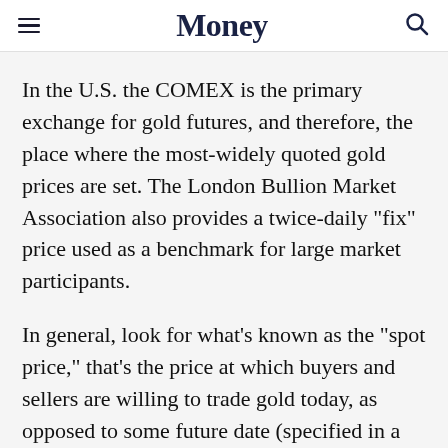Money
In the U.S. the COMEX is the primary exchange for gold futures, and therefore, the place where the most-widely quoted gold prices are set. The London Bullion Market Association also provides a twice-daily "fix" price used as a benchmark for large market participants.
In general, look for what’s known as the “spot price,” that’s the price at which buyers and sellers are willing to trade gold today, as opposed to some future date (specified in a certain month’s futures contract.)